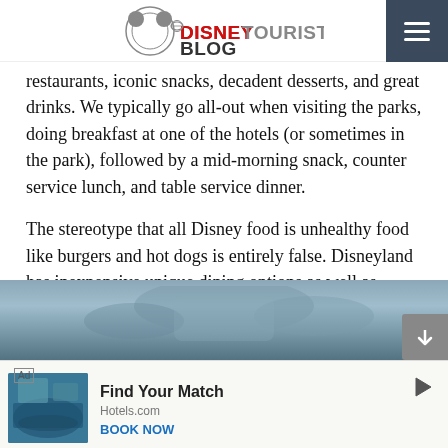DISNEYTOURISTBLOG
Food is half the fun at Disneyland. Both parks have great restaurants, iconic snacks, decadent desserts, and great drinks. We typically go all-out when visiting the parks, doing breakfast at one of the hotels (or sometimes in the park), followed by a mid-morning snack, counter service lunch, and table service dinner.
The stereotype that all Disney food is unhealthy food like burgers and hot dogs is entirely false. Disneyland has inexpensive unique dining options as well as expensive fine dining. Good dining can help define a trip! Read about which restaurants are best & worst, and see food photos in our Disneyland Restaurant Reviews.
[Figure (photo): Partial photo of a Disney dining scene, cut off at bottom of page]
[Figure (other): Advertisement banner: Hotels.com 'Find Your Match' ad with BOOK NOW CTA]